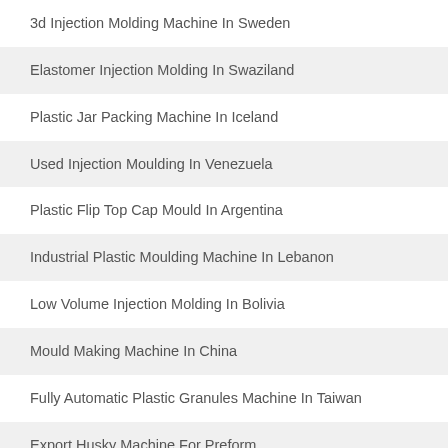3d Injection Molding Machine In Sweden
Elastomer Injection Molding In Swaziland
Plastic Jar Packing Machine In Iceland
Used Injection Moulding In Venezuela
Plastic Flip Top Cap Mould In Argentina
Industrial Plastic Moulding Machine In Lebanon
Low Volume Injection Molding In Bolivia
Mould Making Machine In China
Fully Automatic Plastic Granules Machine In Taiwan
Export Husky Machine For Preform